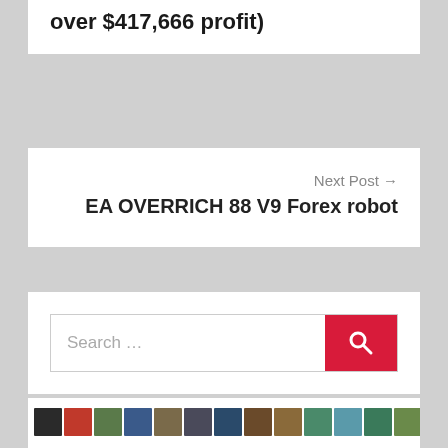over $417,666 profit)
Next Post →
EA OVERRICH 88 V9 Forex robot
[Figure (other): Search bar with red search button]
[Figure (other): Row of product/book cover thumbnail images]